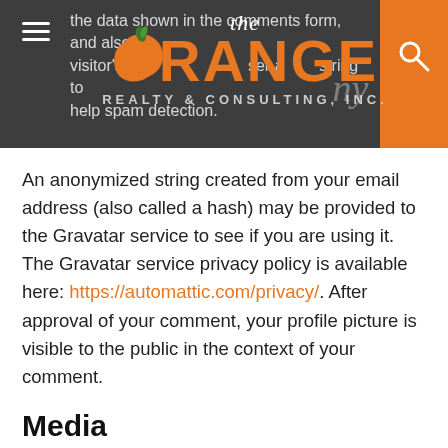[Figure (logo): The Orange NY Realty & Consulting, Inc. logo on dark gray header bar with orange accent block]
the data shown in the comments form, and also the visitor's IP address and user agent string to help spam detection.
An anonymized string created from your email address (also called a hash) may be provided to the Gravatar service to see if you are using it. The Gravatar service privacy policy is available here: https://automattic.com/privacy/. After approval of your comment, your profile picture is visible to the public in the context of your comment.
Media
If you upload images to the website, you should avoid uploading images with embedded location data (EXIF GPS) included. Visitors to the website can